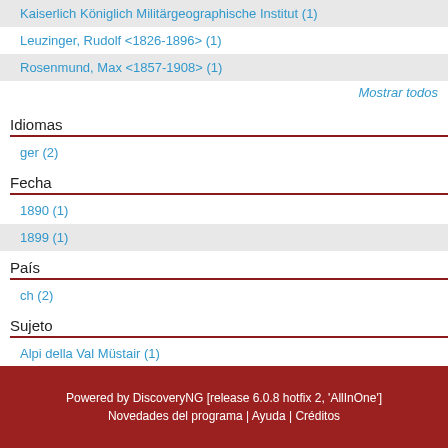Kaiserlich Königlich Militärgeographische Institut (1)
Leuzinger, Rudolf <1826-1896> (1)
Rosenmund, Max <1857-1908> (1)
Mostrar todos
Idiomas
ger (2)
Fecha
1890 (1)
1899 (1)
País
ch (2)
Sujeto
Alpi della Val Müstair (1)
Passo del Forno (1)
Powered by DiscoveryNG [release 6.0.8 hotfix 2, 'AllInOne'] Novedades del programa | Ayuda | Créditos